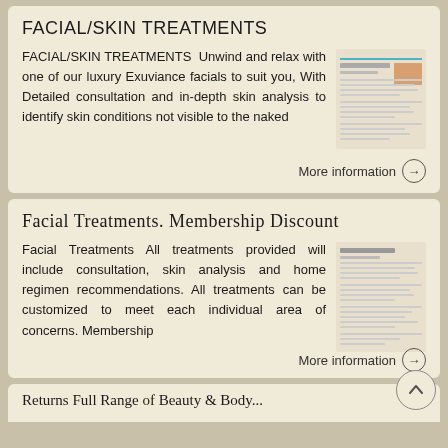FACIAL/SKIN TREATMENTS
FACIAL/SKIN TREATMENTS Unwind and relax with one of our luxury Exuviance facials to suit you, With Detailed consultation and in-depth skin analysis to identify skin conditions not visible to the naked
[Figure (screenshot): Thumbnail image of a document/brochure for facial/skin treatments]
More information →
Facial Treatments. Membership Discount
Facial Treatments All treatments provided will include consultation, skin analysis and home regimen recommendations. All treatments can be customized to meet each individual area of concerns. Membership
[Figure (screenshot): Thumbnail image of a document/brochure for facial treatments membership]
More information →
Returns Full Range of Beauty & Body...